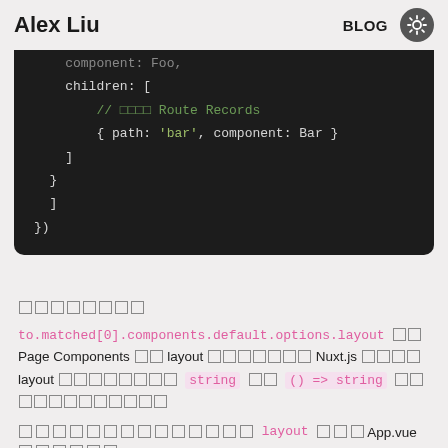Alex Liu  BLOG
[Figure (screenshot): Dark-themed code block showing JavaScript/Vue Router configuration with children array containing route records. Code shows: component: Foo, children: [ // 子路由 Route Records { path: 'bar', component: Bar } ] })]
子路由
to.matched[0].components.default.options.layout で Page Components の layout プロパティを Nuxt.js から layout プロパティには string か () => string を渡すことができます
コンポーネントの layout で App.vue を通じて